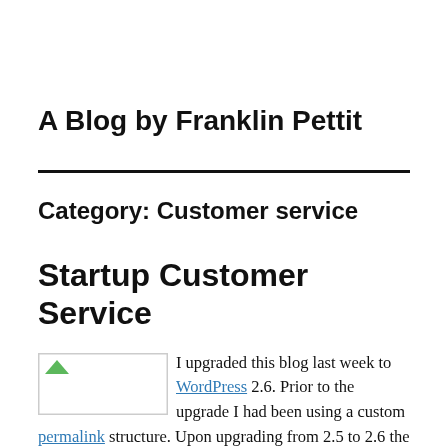A Blog by Franklin Pettit
Category: Customer service
Startup Customer Service
I upgraded this blog last week to WordPress 2.6. Prior to the upgrade I had been using a custom permalink structure. Upon upgrading from 2.5 to 2.6 the link structure would not display